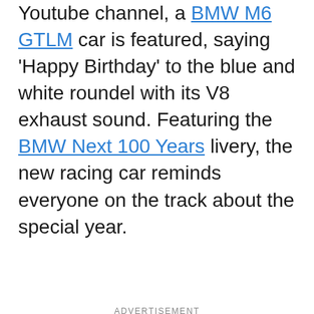Youtube channel, a BMW M6 GTLM car is featured, saying ‘Happy Birthday’ to the blue and white roundel with its V8 exhaust sound. Featuring the BMW Next 100 Years livery, the new racing car reminds everyone on the track about the special year.
ADVERTISEMENT